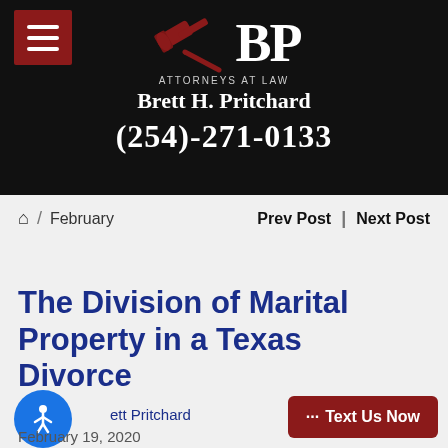[Figure (logo): BP Attorneys at Law logo with gavel, hamburger menu icon on dark background header]
Brett H. Pritchard | (254)-271-0133
🏠 / February   Prev Post | Next Post
The Division of Marital Property in a Texas Divorce
Brett Pritchard
February 19, 2020